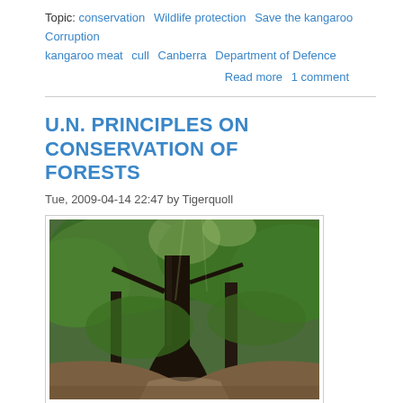Topic: conservation  Wildlife protection  Save the kangaroo  Corruption  kangaroo meat  cull  Canberra  Department of Defence
Read more   1 comment
U.N. PRINCIPLES ON CONSERVATION OF FORESTS
Tue, 2009-04-14 22:47 by Tigerquoll
[Figure (photo): Photo of a forest with large trees and dense green foliage, with a dirt path visible at the base.]
The UN position in 1992 on conserving native forests of the world:
Topic: conservation  Wildlife protection  Save our forests